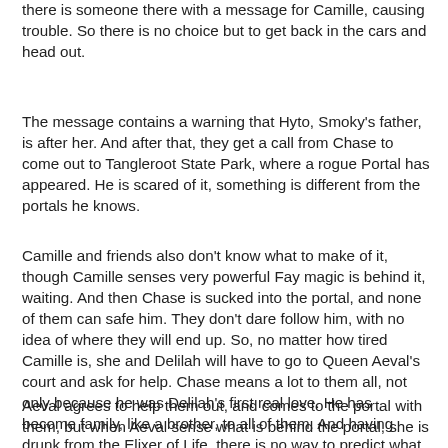there is someone there with a message for Camille, causing trouble. So there is no choice but to get back in the cars and head out.
The message contains a warning that Hyto, Smoky's father, is after her. And after that, they get a call from Chase to come out to Tangleroot State Park, where a rogue Portal has appeared. He is scared of it, something is different from the portals he knows.
Camille and friends also don't know what to make of it, though Camille senses very powerful Fay magic is behind it, waiting. And then Chase is sucked into the portal, and none of them can safe him. They don't dare follow him, with no idea of where they will end up. So, no matter how tired Camille is, she and Delilah will have to go to Queen Aeval's court and ask for help. Chase means a lot to them all, not only because he was Delilah's first real love. He has become family, like a brother, to all of them. And having drunk from the Elixer of Life, there is no way to predict what he will become.
Aeval agrees to help them out, and comes to the portal with them, but when Aeval sense what is behind the portal, she is